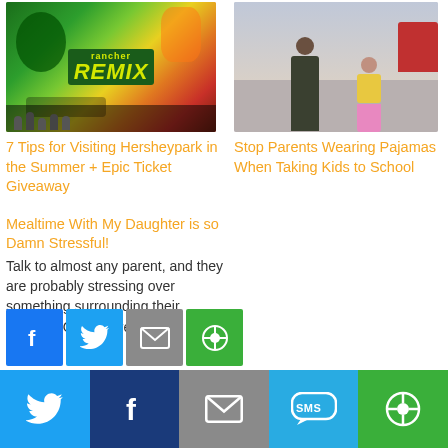[Figure (photo): Hersheypark Rancher Remix sign with colorful amusement park background]
[Figure (photo): Adult and child in pink coat walking on street]
7 Tips for Visiting Hersheypark in the Summer + Epic Ticket Giveaway
Stop Parents Wearing Pajamas When Taking Kids to School
Mealtime With My Daughter is so Damn Stressful!
Talk to almost any parent, and they are probably stressing over something surrounding their children.  Our children